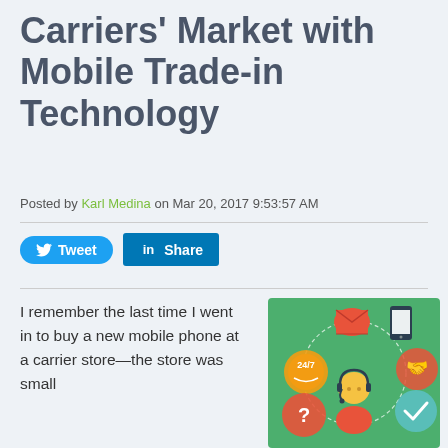Carriers' Market with Mobile Trade-in Technology
Posted by Karl Medina on Mar 20, 2017 9:53:57 AM
[Figure (infographic): Customer service agent with headset surrounded by icons: envelope, smartphone, 24/7, handshake, question mark, checkmark on a green background]
I remember the last time I went in to buy a new mobile phone at a carrier store—the store was small